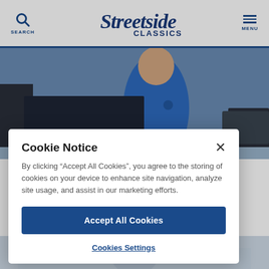SEARCH | Streetside Classics logo | MENU
[Figure (photo): Photo of a person wearing a blue polo shirt with Streetside Classics logo, standing next to a dark-colored classic car in a showroom]
Cookie Notice
By clicking “Accept All Cookies”, you agree to the storing of cookies on your device to enhance site navigation, analyze site usage, and assist in our marketing efforts.
Accept All Cookies
Cookies Settings
[Figure (photo): Partial photo visible at the bottom of the page, showing a person in an indoor setting]